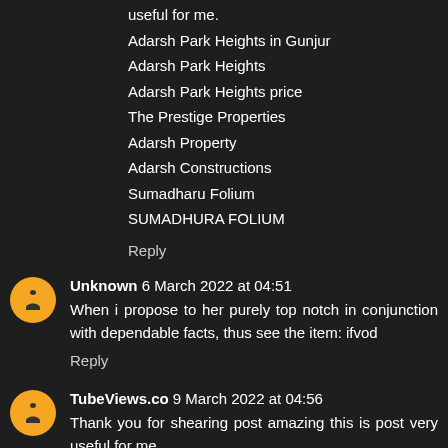useful for me.
Adarsh Park Heights in Gunjur
Adarsh Park Heights
Adarsh Park Heights price
The Prestige Properties
Adarsh Property
Adarsh Constructions
Sumadharu Folium
SUMADHURA FOLIUM
Reply
Unknown 6 March 2022 at 04:51
When i propose to her purely top notch in conjunction with dependable facts, thus see the item: ifvod
Reply
TubeViews.co 9 March 2022 at 04:56
Thank you for shearing post amazing this is post very useful for me.